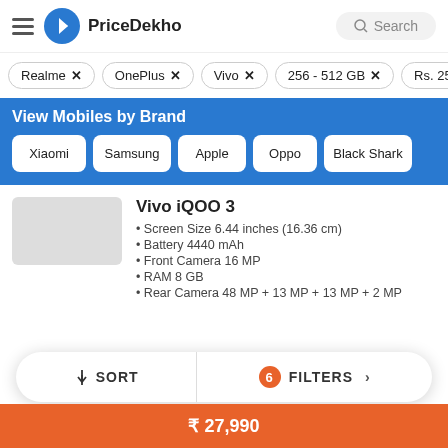PriceDekho
Realme ×
OnePlus ×
Vivo ×
256 - 512 GB ×
Rs. 25,000
View Mobiles by Brand
Xiaomi
Samsung
Apple
Oppo
Black Shark
Vivo iQOO 3
Screen Size 6.44 inches (16.36 cm)
Battery 4440 mAh
Front Camera 16 MP
RAM 8 GB
Rear Camera 48 MP + 13 MP + 13 MP + 2 MP
SORT | 6 FILTERS | ₹ 27,990